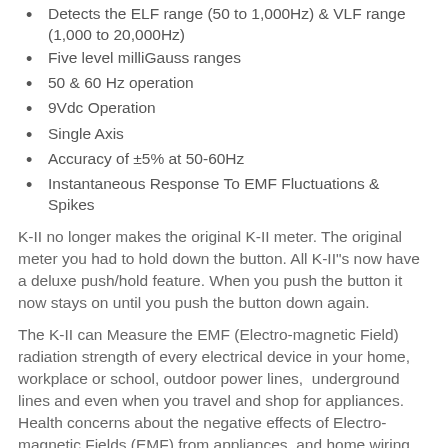Detects the ELF range (50 to 1,000Hz) & VLF range (1,000 to 20,000Hz)
Five level milliGauss ranges
50 & 60 Hz operation
9Vdc Operation
Single Axis
Accuracy of ±5% at 50-60Hz
Instantaneous Response To EMF Fluctuations  & Spikes
K-II no longer makes the original K-II meter. The original meter you had to hold down the button. All K-II"s now have a deluxe push/hold feature. When you push the button it now stays on until you push the button down again.
The K-II can Measure the EMF (Electro-magnetic Field) radiation strength of every electrical device in your home,  workplace or school, outdoor power lines,  underground lines and even when you travel and shop for appliances. Health concerns about the negative effects of Electro- magnetic Fields (EMF) from appliances  and home wiring have caused the U.S. Government to issue a warning to use "Prudent Avoidance" to help reduce your